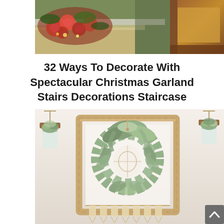[Figure (photo): Top photo showing Christmas red roses/floral arrangement on left side with wooden chair and yellow cushion on right side, on a staircase landing with greenish wall]
32 Ways To Decorate With Spectacular Christmas Garland Stairs Decorations Staircase
[Figure (photo): Bottom photo showing a rustic wooden picture frame decorated with a eucalyptus/greenery wreath hung in the center, two small wooden plank hangers with mason jar floral arrangements on either side, and a paper/fabric tassel banner at the bottom, all against a white/cream wall]